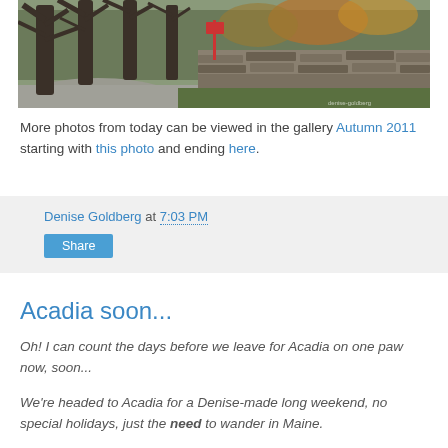[Figure (photo): A road lined with large bare trees on the left side, with a stone wall on the right side. Autumn foliage visible in the background. A watermark is visible in the lower right corner.]
More photos from today can be viewed in the gallery Autumn 2011 starting with this photo and ending here.
Denise Goldberg at 7:03 PM
Share
Acadia soon...
Oh! I can count the days before we leave for Acadia on one paw now, soon...
We're headed to Acadia for a Denise-made long weekend, no special holidays, just the need to wander in Maine.